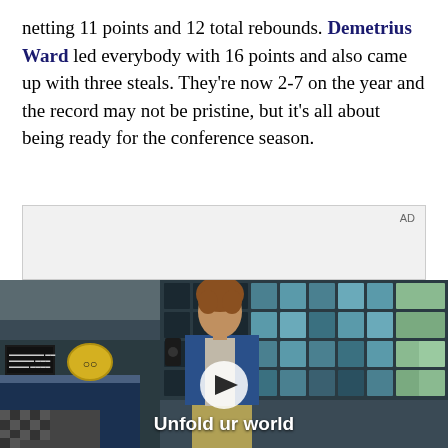netting 11 points and 12 total rebounds. Demetrius Ward led everybody with 16 points and also came up with three steals. They're now 2-7 on the year and the record may not be pristine, but it's all about being ready for the conference season.
[Figure (other): Advertisement placeholder box with 'AD' label in top right corner, light gray background]
[Figure (screenshot): Video player showing a young man in a denim jacket standing in front of a tiled wall (store interior). A play button is overlaid in the center. Text reads 'Unfold your world' (Samsung advertisement).]